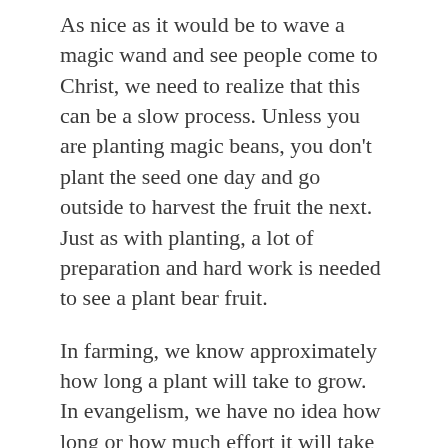As nice as it would be to wave a magic wand and see people come to Christ, we need to realize that this can be a slow process. Unless you are planting magic beans, you don't plant the seed one day and go outside to harvest the fruit the next. Just as with planting, a lot of preparation and hard work is needed to see a plant bear fruit.
In farming, we know approximately how long a plant will take to grow. In evangelism, we have no idea how long or how much effort it will take to see results. We need to concentrate more on the work and less on the harvest. God will provide the harvest according to His time and